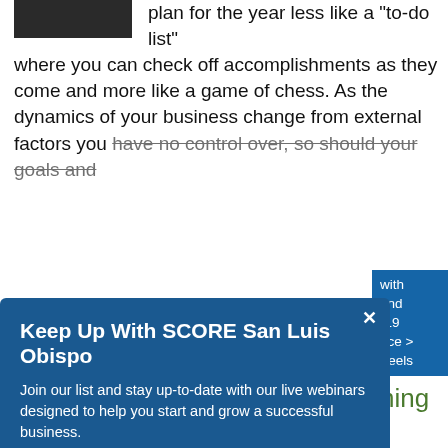[Figure (photo): Dark/black image in upper left corner, partially visible]
plan for the year less like a “to-do list” where you can check off accomplishments as they come and more like a game of chess. As the dynamics of your business change from external factors you have no control over, so should your goals and
Keep Up With SCORE San Luis Obispo
Join our list and stay up-to-date with our live webinars designed to help you start and grow a successful business.
email address
SUBMIT
with and -19 nce > Feels
4. How Effectively Are We Reaching and Gaining Customers?